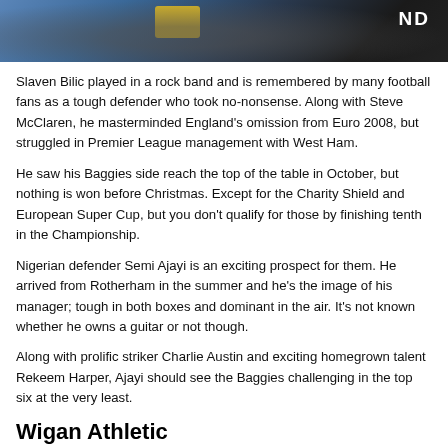[Figure (photo): Top portion of a photo showing a person in a dark jacket, with yellow and blue elements visible, and 'ND' text on the right side]
Slaven Bilic played in a rock band and is remembered by many football fans as a tough defender who took no-nonsense. Along with Steve McClaren, he masterminded England's omission from Euro 2008, but struggled in Premier League management with West Ham.
He saw his Baggies side reach the top of the table in October, but nothing is won before Christmas. Except for the Charity Shield and European Super Cup, but you don't qualify for those by finishing tenth in the Championship.
Nigerian defender Semi Ajayi is an exciting prospect for them. He arrived from Rotherham in the summer and he's the image of his manager; tough in both boxes and dominant in the air. It's not known whether he owns a guitar or not though.
Along with prolific striker Charlie Austin and exciting homegrown talent Rekeem Harper, Ajayi should see the Baggies challenging in the top six at the very least.
Wigan Athletic
[Figure (photo): Bottom portion of a photo showing a bald man shouting or speaking animatedly, with a purple/pink blurred background]